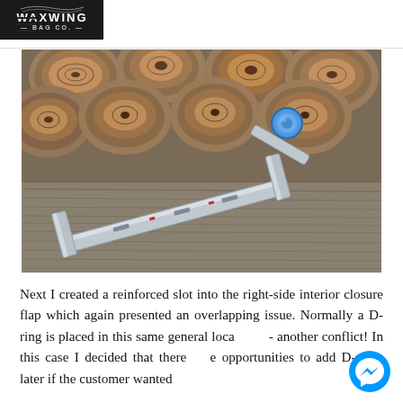Waxwing Bag Co.
[Figure (photo): A metal waxing/ironing tool or frame made of aluminum, U-shaped, with a blue circular knob/cap on a protruding arm, resting on a wooden surface with a stack of cut firewood logs in the background.]
Next I created a reinforced slot into the right-side interior closure flap which again presented an overlapping issue. Normally a D-ring is placed in this same general location - another conflict! In this case I decided that there were opportunities to add D-rings later if the customer wanted